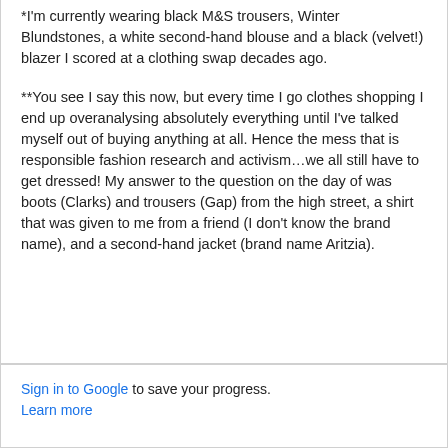*I'm currently wearing black M&S trousers, Winter Blundstones, a white second-hand blouse and a black (velvet!) blazer I scored at a clothing swap decades ago.
**You see I say this now, but every time I go clothes shopping I end up overanalysing absolutely everything until I've talked myself out of buying anything at all. Hence the mess that is responsible fashion research and activism…we all still have to get dressed! My answer to the question on the day of was boots (Clarks) and trousers (Gap) from the high street, a shirt that was given to me from a friend (I don't know the brand name), and a second-hand jacket (brand name Aritzia).
Sign in to Google to save your progress. Learn more